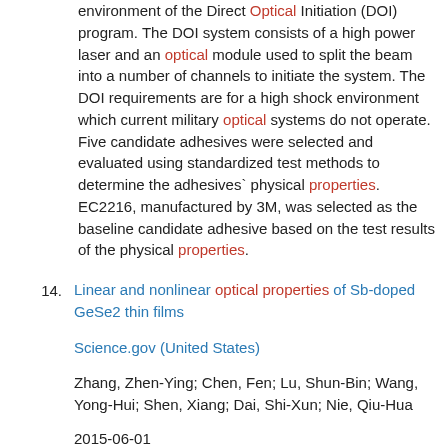environment of the Direct Optical Initiation (DOI) program. The DOI system consists of a high power laser and an optical module used to split the beam into a number of channels to initiate the system. The DOI requirements are for a high shock environment which current military optical systems do not operate. Five candidate adhesives were selected and evaluated using standardized test methods to determine the adhesives` physical properties. EC2216, manufactured by 3M, was selected as the baseline candidate adhesive based on the test results of the physical properties.
14. Linear and nonlinear optical properties of Sb-doped GeSe2 thin films
Science.gov (United States)
Zhang, Zhen-Ying; Chen, Fen; Lu, Shun-Bin; Wang, Yong-Hui; Shen, Xiang; Dai, Shi-Xun; Nie, Qiu-Hua
2015-06-01
Sb-doped GeSe2 chalcogenide thin films are prepared by the magnetron co-sputtering method. The linear optical properties of as-deposited films are derived by analyzing transmission